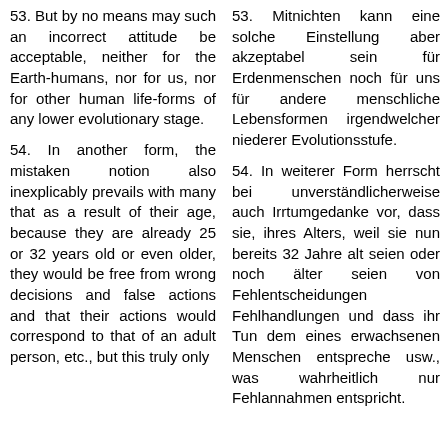53. But by no means may such an incorrect attitude be acceptable, neither for the Earth-humans, nor for us, nor for other human life-forms of any lower evolutionary stage.
54. In another form, the mistaken notion also inexplicably prevails with many that as a result of their age, because they are already 25 or 32 years old or even older, they would be free from wrong decisions and false actions and that their actions would correspond to that of an adult person, etc., but this truly only
53. Mitnichten kann eine solche Einstellung aber akzeptabel sein für Erdenmenschen noch für uns für andere menschliche Lebensformen irgendwelcher niederer Evolutionsstufe.
54. In weiterer Form herrscht bei unverständlicherweise auch Irrtumgedanke vor, dass sie, ihres Alters, weil sie nun bereits 32 Jahre alt seien oder noch älter seien von Fehlentscheidungen Fehlhandlungen und dass ihr Tun dem eines erwachsenen Menschen entspreche usw., was wahrheitlich nur Fehlannahmen entspricht.